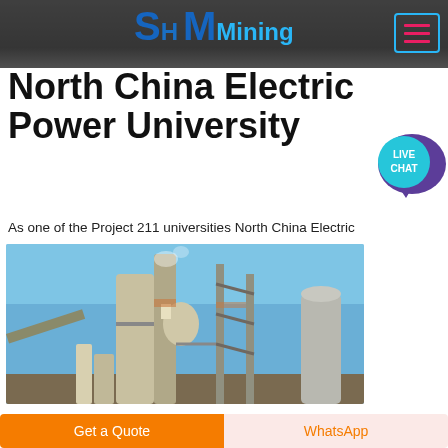SH MMining
North China Electric Power University
As one of the Project 211 universities North China Electric Power University NCEPU is a national key university under the direct jurisdiction of the Ministry of Education MOE The
Click to chat
[Figure (photo): Industrial mining/processing plant with tall silos, conveyor belts, and metal scaffolding against a blue sky]
Get a Quote
WhatsApp